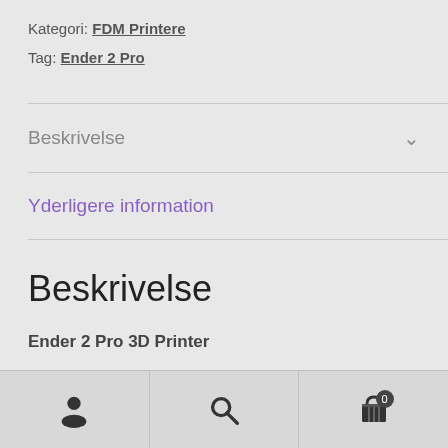Kategori: FDM Printere
Tag: Ender 2 Pro
Beskrivelse
Yderligere information
Beskrivelse
Ender 2 Pro 3D Printer
4-Step Assembly: 90% Pre-installed